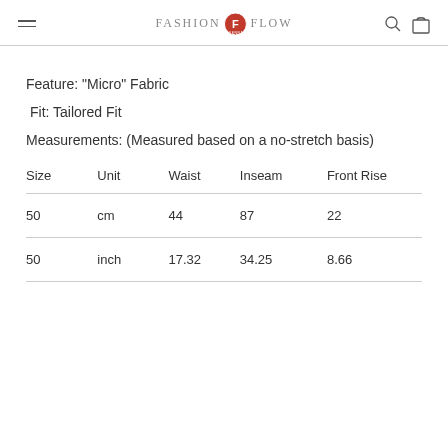FASHION F FLOW VIENNA
Feature: "Micro" Fabric
Fit: Tailored Fit
Measurements: (Measured based on a no-stretch basis)
| Size | Unit | Waist | Inseam | Front Rise |
| --- | --- | --- | --- | --- |
| 50 | cm | 44 | 87 | 22 |
| 50 | inch | 17.32 | 34.25 | 8.66 |